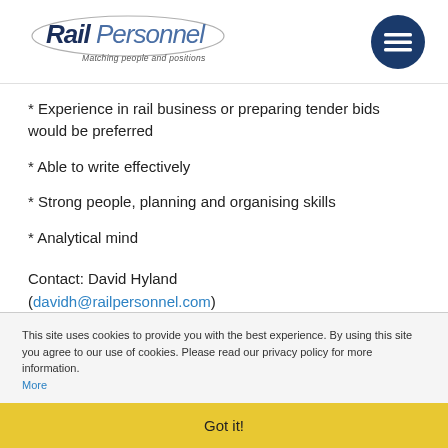RailPersonnel – Matching people and positions
* Experience in rail business or preparing tender bids would be preferred
* Able to write effectively
* Strong people, planning and organising skills
* Analytical mind
Contact: David Hyland (davidh@railpersonnel.com)
This site uses cookies to provide you with the best experience. By using this site you agree to our use of cookies. Please read our privacy policy for more information. More
Got it!